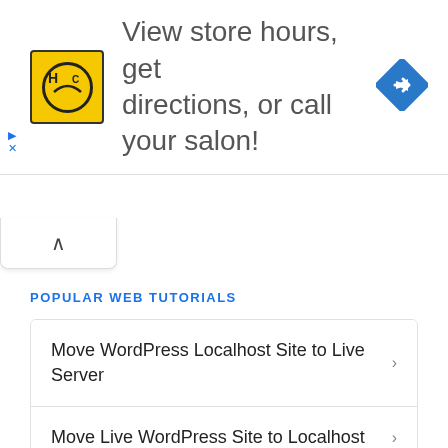[Figure (screenshot): Advertisement banner with HC logo (yellow square with black HC letters in circle), text 'View store hours, get directions, or call your salon!', and a blue diamond navigation icon on the right]
[Figure (screenshot): UI tab/chevron button with upward-pointing caret symbol]
POPULAR WEB TUTORIALS
Move WordPress Localhost Site to Live Server
Move Live WordPress Site to Localhost